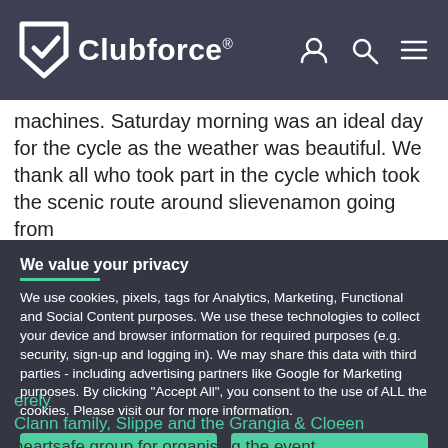Clubforce®
machines. Saturday morning was an ideal day for the cycle as the weather was beautiful. We thank all who took part in the cycle which took the scenic route around slievenamon going from
ety down to Kiltinan, on to Ballypatrick, Grangemockler, Ninemilehouse and
We value your privacy
We use cookies, pixels, tags for Analytics, Marketing, Functional and Social Content purposes. We use these technologies to collect your device and browser information for required purposes (e.g. security, sign-up and logging in). We may share this data with third parties - including advertising partners like Google for Marketing purposes. By clicking "Accept All", you consent to the use of ALL the cookies. Please visit our for more information.
ACCEPT ALL
COOKIE SETTINGS
erely Clann family, Slippe and the Grangia & Cloeen heartsafe group for organising the event.